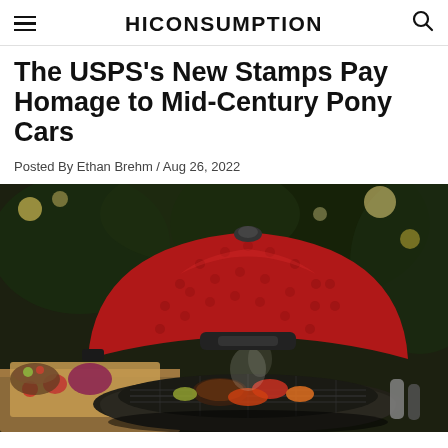HICONSUMPTION
The USPS's New Stamps Pay Homage to Mid-Century Pony Cars
Posted By Ethan Brehm / Aug 26, 2022
[Figure (photo): A red dome-shaped ceramic kamado grill (similar to a Big Green Egg) with its lid open, showing vegetables and meat cooking on the grates, with a wooden cutting board with vegetables to the left, string lights and dark green foliage in the background.]